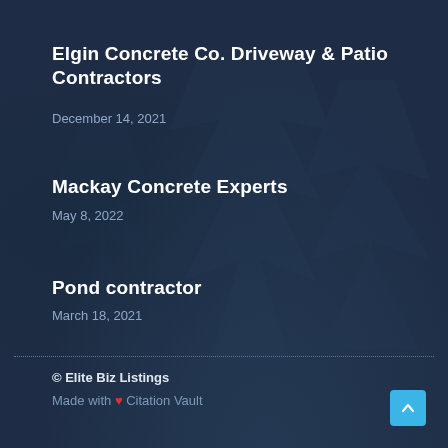Elgin Concrete Co. Driveway & Patio Contractors
December 14, 2021
Mackay Concrete Experts
May 8, 2022
Pond contractor
March 18, 2021
© Elite Biz Listings
Made with ❤ Citation Vault